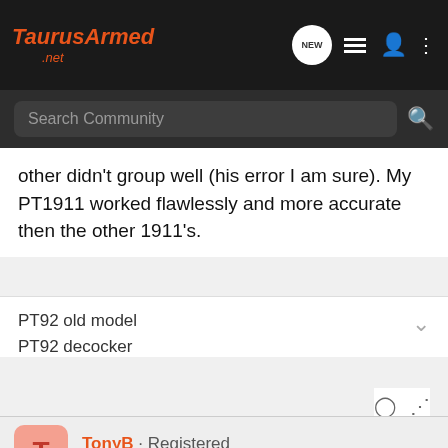TaurusArmed.net — Search Community header with navigation icons
other didn't group well (his error I am sure). My PT1911 worked flawlessly and more accurate then the other 1911's.
PT92 old model
PT92 decocker
TonyB · Registered
Joined Jan 11, 2007 · 86 Posts
#4 · Apr 4, 2007
I've had less problems with Taurus products,than any others I've had People who usually have had things to say about